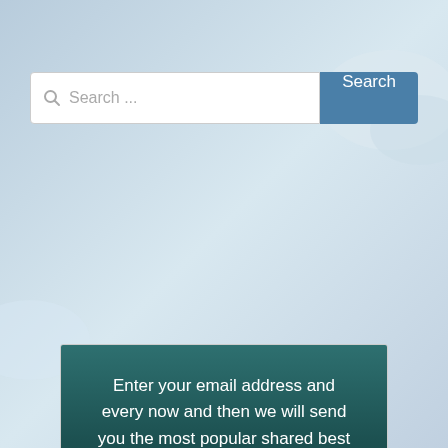[Figure (screenshot): Background image with sky and clouds in blue/white tones]
Search ...
Search
Enter your email address and every now and then we will send you the most popular shared best outer space video.
Email address:
Your email address
Sign up